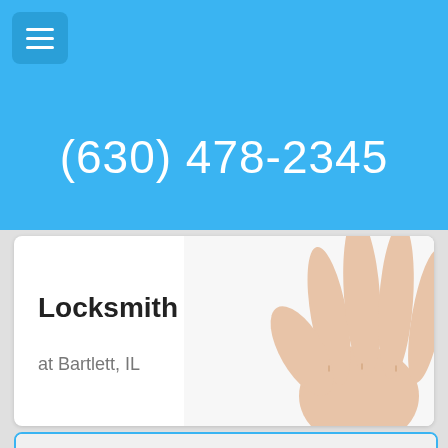(630) 478-2345
Locksmith
at Bartlett, IL
[Figure (photo): Close-up of a hand holding car keys on a keyring against a white background]